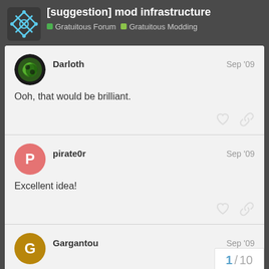[suggestion] mod infrastructure — Gratuitous Forum · Gratuitous Modding
Darloth
Sep '09
Ooh, that would be brilliant.
pirate0r
Sep '09
Excellent idea!
Gargantou
Sep '09
Indeed a great idea, many modern game
1 / 10